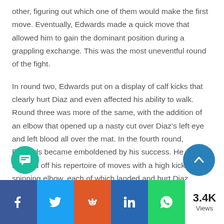other, figuring out which one of them would make the first move. Eventually, Edwards made a quick move that allowed him to gain the dominant position during a grappling exchange. This was the most uneventful round of the fight.
In round two, Edwards put on a display of calf kicks that clearly hurt Diaz and even affected his ability to walk. Round three was more of the same, with the addition of an elbow that opened up a nasty cut over Diaz’s left eye and left blood all over the mat. In the fourth round, Edwards became emboldened by his success. He showed off his repertoire of moves with a high kick and a spinning elbow, each of which landed and hurt Diaz.
Share buttons: Facebook, Twitter, Reddit, LinkedIn, WhatsApp | 3.4K Views